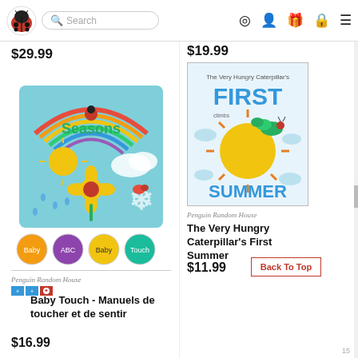Indigo bookstore navigation header with logo, search bar, and icons
$29.99
$19.99
[Figure (photo): Baby Touch Seasons board book cover with rainbow, sun, flower, snowflake on teal background]
[Figure (photo): Four circular thumbnail images of book covers]
Penguin Random House
Baby Touch - Manuels de toucher et de sentir
$16.99
[Figure (photo): The Very Hungry Caterpillar's First Summer book cover with sun illustration]
Penguin Random House
The Very Hungry Caterpillar's First Summer
$11.99
Back To Top